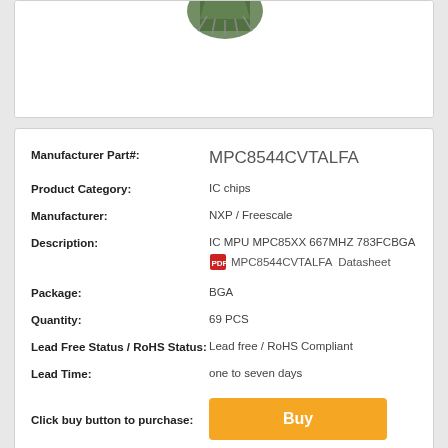[Figure (photo): Green IC chip component image, partially visible at top]
| Field | Value |
| --- | --- |
| Manufacturer Part#: | MPC8544CVTALFA |
| Product Category: | IC chips |
| Manufacturer: | NXP / Freescale |
| Description: | IC MPU MPC85XX 667MHZ 783FCBGA |
|  | MPC8544CVTALFA  Datasheet |
| Package: | BGA |
| Quantity: | 69 PCS |
| Lead Free Status / RoHS Status: | Lead free / RoHS Compliant |
| Lead Time: | one to seven days |
| Click buy button to purchase: | Buy |